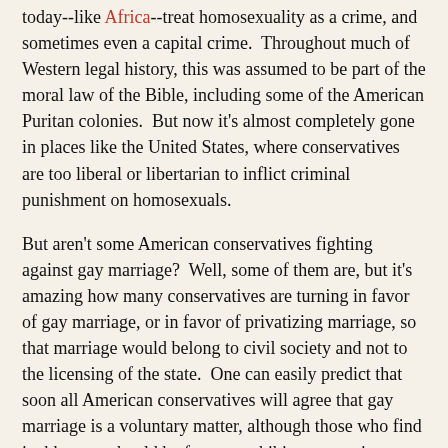today--like Africa--treat homosexuality as a crime, and sometimes even a capital crime.  Throughout much of Western legal history, this was assumed to be part of the moral law of the Bible, including some of the American Puritan colonies.  But now it's almost completely gone in places like the United States, where conservatives are too liberal or libertarian to inflict criminal punishment on homosexuals.
But aren't some American conservatives fighting against gay marriage?  Well, some of them are, but it's amazing how many conservatives are turning in favor of gay marriage, or in favor of privatizing marriage, so that marriage would belong to civil society and not to the licensing of the state.  One can easily predict that soon all American conservatives will agree that gay marriage is a voluntary matter, although those who find it abhorrent should be free to prohibit gay marriage within their voluntary associations.  That's the response of libertarian conservatism.
Haidt and his colleagues don't see the importance of libertarian conservatism, because they don't seem to have studied conservative political thought.  Remarkably, except for one sentence from J. S. Mill, the article for BBS has not a single reference to any work of